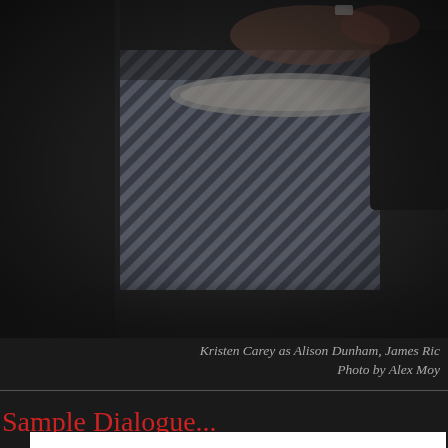[Figure (photo): A partial photograph showing hands holding what appears to be fabric or a garment with a striped/textured gray pattern, possibly a fashion or theatre production photo. The image is cropped and shows only the lower portion.]
Kristen Carey as Alison Dunham, James Ric…
Photo by Alex Moy
Sample Dialogue...